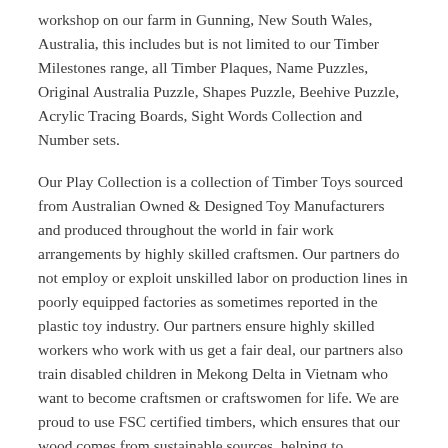workshop on our farm in Gunning, New South Wales, Australia, this includes but is not limited to our Timber Milestones range, all Timber Plaques, Name Puzzles, Original Australia Puzzle, Shapes Puzzle, Beehive Puzzle, Acrylic Tracing Boards, Sight Words Collection and Number sets.
Our Play Collection is a collection of Timber Toys sourced from Australian Owned & Designed Toy Manufacturers and produced throughout the world in fair work arrangements by highly skilled craftsmen. Our partners do not employ or exploit unskilled labor on production lines in poorly equipped factories as sometimes reported in the plastic toy industry. Our partners ensure highly skilled workers who work with us get a fair deal, our partners also train disabled children in Mekong Delta in Vietnam who want to become craftsmen or craftswomen for life. We are proud to use FSC certified timbers, which ensures that our wood comes from sustainable sources, helping to